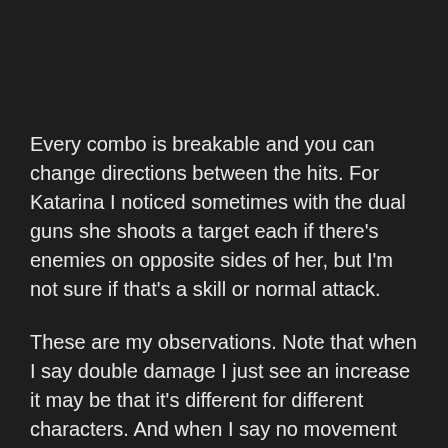Every combo is breakable and you can change directions between the hits. For Katarina I noticed sometimes with the dual guns she shoots a target each if there's enemies on opposite sides of her, but I'm not sure if that's a skill or normal attack.
These are my observations. Note that when I say double damage I just see an increase it may be that it's different for different characters. And when I say no movement it's possible that there is some, but it's very slight (less than a character's foot length). Or it's possible that the character leans forward/backwards, but doesn't actually move if you interrupt the combo